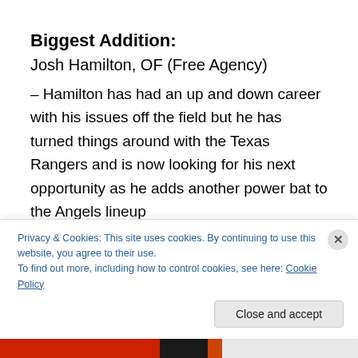Biggest Addition:
Josh Hamilton, OF (Free Agency)
– Hamilton has had an up and down career with his issues off the field but he has turned things around with the Texas Rangers and is now looking for his next opportunity as he adds another power bat to the Angels lineup
Player to Watch:
Mike Trout, 1B
Privacy & Cookies: This site uses cookies. By continuing to use this website, you agree to their use.
To find out more, including how to control cookies, see here: Cookie Policy